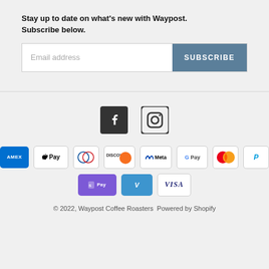Stay up to date on what's new with Waypost. Subscribe below.
[Figure (screenshot): Email address input field with Subscribe button]
[Figure (infographic): Social media icons: Facebook and Instagram]
[Figure (infographic): Payment method badges: American Express, Apple Pay, Diners Club, Discover, Meta Pay, Google Pay, Mastercard, PayPal, Shop Pay, Venmo, Visa]
© 2022, Waypost Coffee Roasters Powered by Shopify